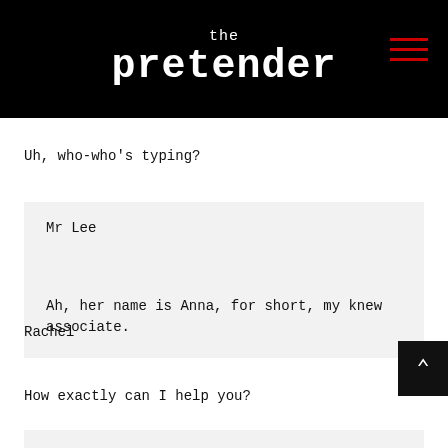the pretender
Uh, who-who's typing?
Mr Lee

Ah, her name is Anna, for short, my knew associate.
Rachel
How exactly can I help you?